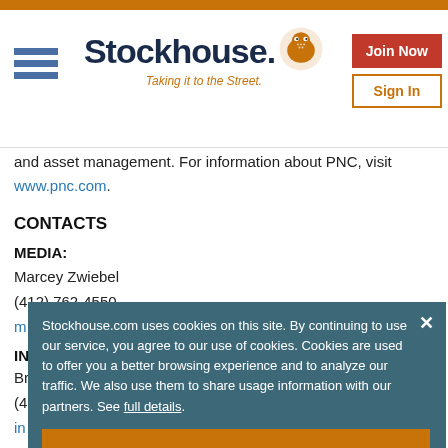Stockhouse - Taking it to the Street.
and asset management. For information about PNC, visit www.pnc.com.
CONTACTS
MEDIA:
Marcey Zwiebel
(412) 762-4550
mediarelations@...
IN...
Br...
(4...
in...
Stockhouse.com uses cookies on this site. By continuing to use our service, you agree to our use of cookies. Cookies are used to offer you a better browsing experience and to analyze our traffic. We also use them to share usage information with our partners. See full details.